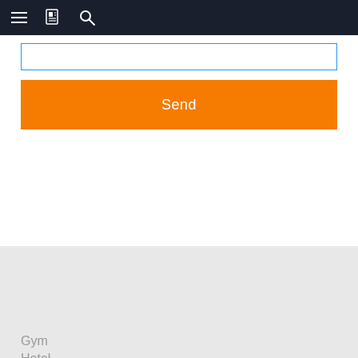[Figure (screenshot): Mobile app navigation bar with hamburger menu icon, document icon, and search icon on dark background]
[Figure (screenshot): Input text field with blue border and orange Send button on white background]
Send
CASE
Gym
Hotel